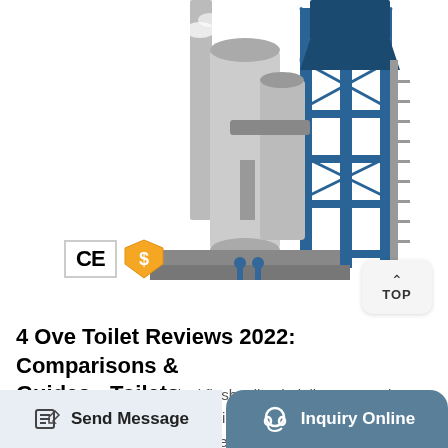[Figure (photo): Industrial plant/factory machinery with tall silos, pipes, blue steel structure, white background — product listing photo with CE and shield certification badges overlaid]
4 Ove Toilet Reviews 2022: Comparisons & Guides - Toilets ...
Sep 27, 2021 · Being a dual flush toilet, it delivers tornado flush, which cleanses the bowl in a centrifugal manner, leaving behind a cleaner bowl. The toilet only uses 1.28 gpf, which reduces water
Send Message   Inquiry Online